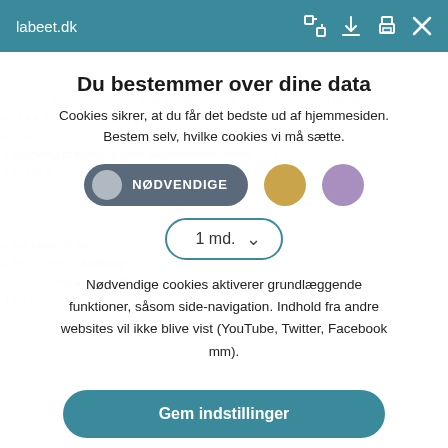labeet.dk
Du bestemmer over dine data
Cookies sikrer, at du får det bedste ud af hjemmesiden. Bestem selv, hvilke cookies vi må sætte.
[Figure (screenshot): Cookie consent toggle buttons: active dark grey pill with NØDVENDIGE label, inactive gold circle, inactive purple circle]
[Figure (screenshot): Dropdown selector showing '1 md.' with chevron, teal border pill style]
Nødvendige cookies aktiverer grundlæggende funktioner, såsom side-navigation. Indhold fra andre websites vil ikke blive vist (YouTube, Twitter, Facebook mm).
Gem indstillinger